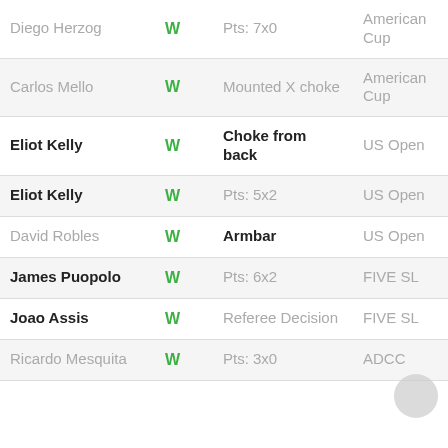| Opponent | Result | Method | Event | Division |
| --- | --- | --- | --- | --- |
| Diego Herzog | W | Pts: 7x0 | American Cup | ABS |
| Carlos Mello | W | Mounted X choke | American Cup | ABS |
| Eliot Kelly | W | Choke from back | US Open | 94KG |
| Eliot Kelly | W | Pts: 5x2 | US Open | ABS |
| David Robles | W | Armbar | US Open | ABS |
| James Puopolo | W | Pts: 6x2 | FIVE SL | ABS |
| Joao Assis | W | Referee Decision | FIVE SL | ABS |
| Ricardo Mesquita | W | Pts: 3x0 | ADCC | 88KG |